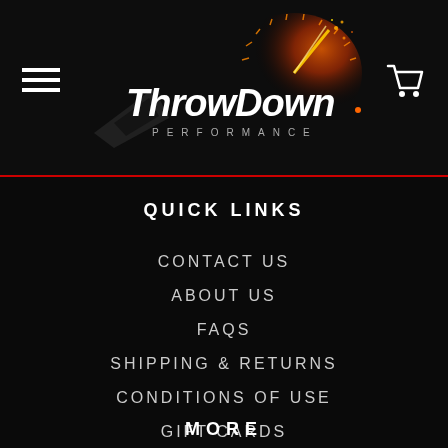[Figure (logo): ThrowDown Performance logo with speedometer graphic in orange/red tones, italic bold text and PERFORMANCE subtitle in spaced capitals]
QUICK LINKS
CONTACT US
ABOUT US
FAQS
SHIPPING & RETURNS
CONDITIONS OF USE
GIFT CARDS
FINANCING
MORE